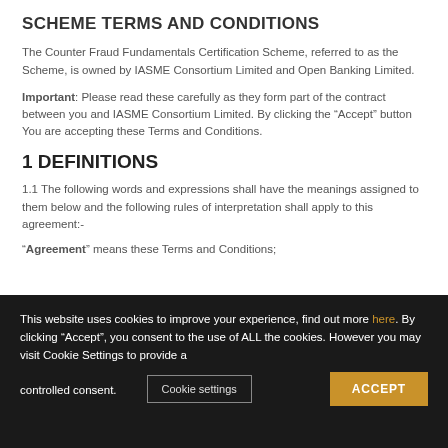SCHEME TERMS AND CONDITIONS
The Counter Fraud Fundamentals Certification Scheme, referred to as the Scheme, is owned by IASME Consortium Limited and Open Banking Limited.
Important: Please read these carefully as they form part of the contract between you and IASME Consortium Limited. By clicking the “Accept” button You are accepting these Terms and Conditions.
1 DEFINITIONS
1.1 The following words and expressions shall have the meanings assigned to them below and the following rules of interpretation shall apply to this agreement:-
“Agreement” means these Terms and Conditions;
This website uses cookies to improve your experience, find out more here. By clicking “Accept”, you consent to the use of ALL the cookies. However you may visit Cookie Settings to provide a controlled consent.
Cookie settings
ACCEPT